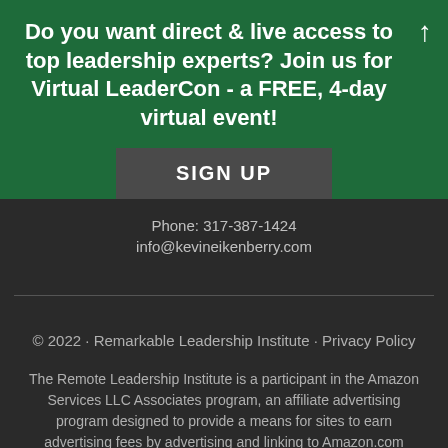Do you want direct & live access to top leadership experts? Join us for Virtual LeaderCon - a FREE, 4-day virtual event!
SIGN UP
Phone: 317-387-1424
info@kevineikenberry.com
© 2022 · Remarkable Leadership Institute · Privacy Policy
The Remote Leadership Institute is a participant in the Amazon Services LLC Associates program, an affiliate advertising program designed to provide a means for sites to earn advertising fees by advertising and linking to Amazon.com